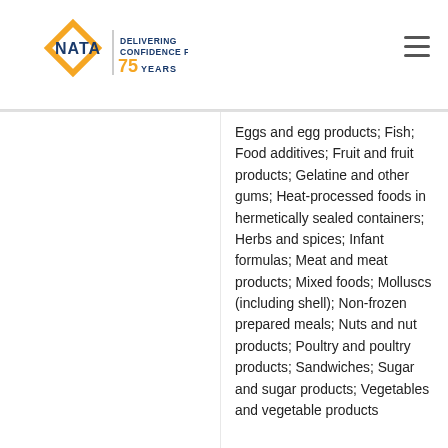NATA — Delivering Confidence for 75 Years
Eggs and egg products; Fish; Food additives; Fruit and fruit products; Gelatine and other gums; Heat-processed foods in hermetically sealed containers; Herbs and spices; Infant formulas; Meat and meat products; Mixed foods; Molluscs (including shell); Non-frozen prepared meals; Nuts and nut products; Poultry and poultry products; Sandwiches; Sugar and sugar products; Vegetables and vegetable products
Se
Dairy products; Ye